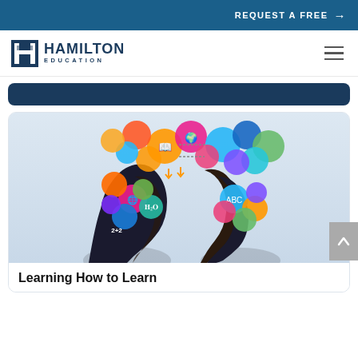REQUEST A FREE →
[Figure (logo): Hamilton Education logo with stylized H icon and text HAMILTON EDUCATION]
[Figure (illustration): Two silhouetted human head profiles facing each other with colorful educational icons (science, math, arts, technology) floating above them representing learning and knowledge]
Learning How to Learn